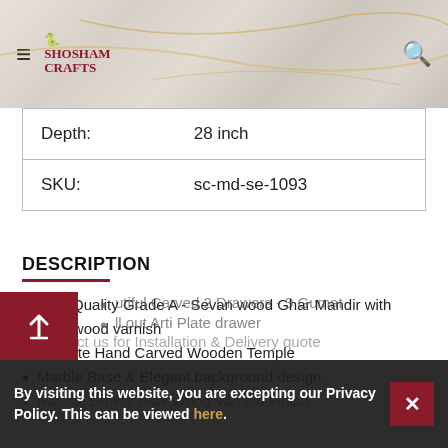Shosham Crafts - navigation header with hamburger menu and search icon
| Depth: | 28 inch |
| SKU: | sc-md-se-1093 |
DESCRIPTION
High Quality Grade A - Sevan wood Ghar Mandir with Teak wood varnish
Intricate Hand Carved Wooden Temple
Marble Base & Elegant background design
Natural Brown Teak Wood Varnish Finish
Beautiful Carved 2 Drawers - 3 Gumat
Pull out Arti Plate drawer
Contact us for Installation & Delivery quote
By visiting this website, you are excepting our Privacy Policy. This can be viewed here.